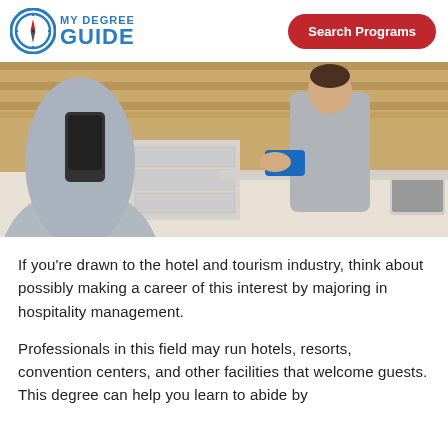MY DEGREE GUIDE | Search Programs
[Figure (photo): Hotel reception scene: a female hotel staff member in a grey suit handing a blue key card to a guest across the front desk, with wooden paneling in the background.]
If you’re drawn to the hotel and tourism industry, think about possibly making a career of this interest by majoring in hospitality management.
Professionals in this field may run hotels, resorts, convention centers, and other facilities that welcome guests. This degree can help you learn to abide by